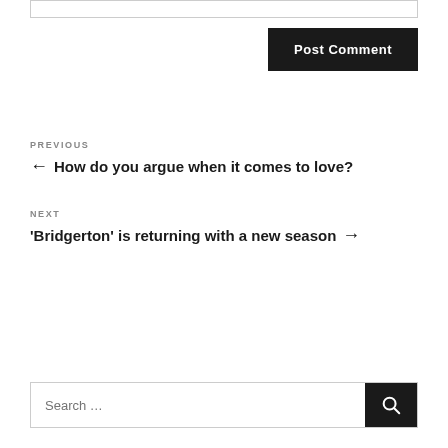[input box]
Post Comment
PREVIOUS
← How do you argue when it comes to love?
NEXT
'Bridgerton' is returning with a new season →
Search …